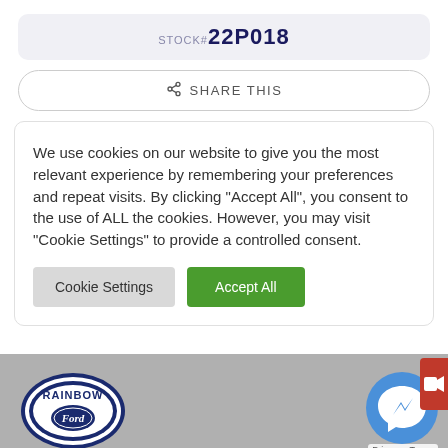STOCK# 22P018
SHARE THIS
We use cookies on our website to give you the most relevant experience by remembering your preferences and repeat visits. By clicking “Accept All”, you consent to the use of ALL the cookies. However, you may visit “Cookie Settings” to provide a controlled consent.
Cookie Settings
Accept All
[Figure (logo): Rainbow Ford oval logo with blue and white branding]
[Figure (illustration): Facebook Messenger chat bubble icon in blue circle]
Privacy - Terms